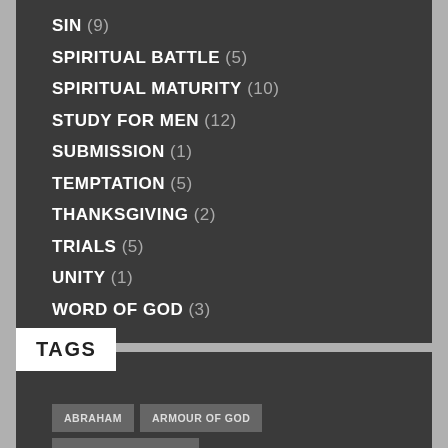SIN (9)
SPIRITUAL BATTLE (5)
SPIRITUAL MATURITY (10)
STUDY FOR MEN (12)
SUBMISSION (1)
TEMPTATION (5)
THANKSGIVING (2)
TRIALS (5)
UNITY (1)
WORD OF GOD (3)
TAGS
ABRAHAM  ARMOUR OF GOD  CHRISTIAN MATURITY